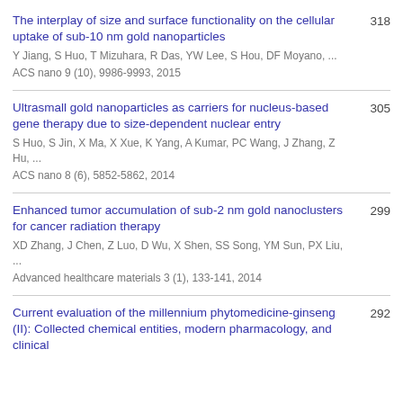The interplay of size and surface functionality on the cellular uptake of sub-10 nm gold nanoparticles
Y Jiang, S Huo, T Mizuhara, R Das, YW Lee, S Hou, DF Moyano, ...
ACS nano 9 (10), 9986-9993, 2015
318
Ultrasmall gold nanoparticles as carriers for nucleus-based gene therapy due to size-dependent nuclear entry
S Huo, S Jin, X Ma, X Xue, K Yang, A Kumar, PC Wang, J Zhang, Z Hu, ...
ACS nano 8 (6), 5852-5862, 2014
305
Enhanced tumor accumulation of sub-2 nm gold nanoclusters for cancer radiation therapy
XD Zhang, J Chen, Z Luo, D Wu, X Shen, SS Song, YM Sun, PX Liu, ...
Advanced healthcare materials 3 (1), 133-141, 2014
299
Current evaluation of the millennium phytomedicine-ginseng (II): Collected chemical entities, modern pharmacology, and clinical
292